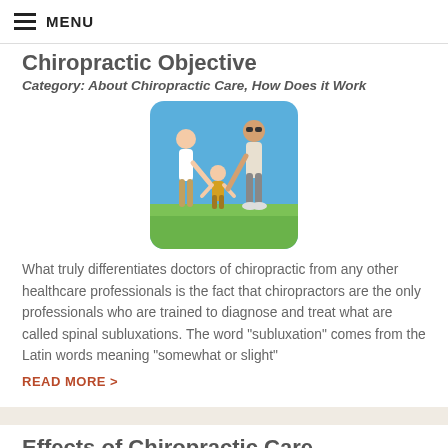MENU
Chiropractic Objective
Category: About Chiropractic Care, How Does it Work
[Figure (photo): A family of three (mother, father, and young child) walking on green grass under a blue sky, holding hands]
What truly differentiates doctors of chiropractic from any other healthcare professionals is the fact that chiropractors are the only professionals who are trained to diagnose and treat what are called spinal subluxations. The word "subluxation" comes from the Latin words meaning "somewhat or slight"
READ MORE >
Effects of Chiropractic Care
Category: About Chiropractic Care, How Does it Work